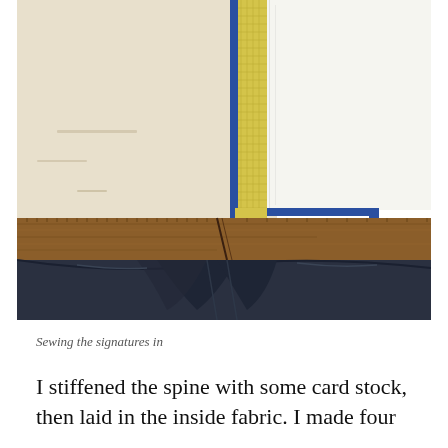[Figure (photo): Close-up photo showing bookbinding process: white pages/signatures clamped against a wooden board with blue masking tape and yellow grid tape along the spine. The bottom portion shows dark denim jeans beneath the wooden board, suggesting the book is being held between the person's legs while sewing.]
Sewing the signatures in
I stiffened the spine with some card stock, then laid in the inside fabric. I made four